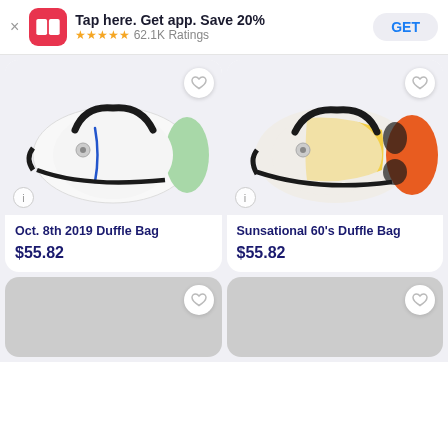Tap here. Get app. Save 20% ★★★★★ 62.1K Ratings GET
[Figure (photo): Oct. 8th 2019 Duffle Bag product photo - white and green duffle bag with black handles]
Oct. 8th 2019 Duffle Bag
$55.82
[Figure (photo): Sunsational 60's Duffle Bag product photo - orange and yellow patterned duffle bag with black handles]
Sunsational 60's Duffle Bag
$55.82
[Figure (photo): Loading placeholder - gray card at bottom left]
[Figure (photo): Loading placeholder - gray card at bottom right]